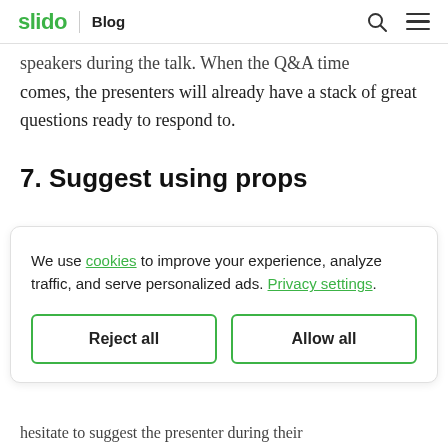slido | Blog
speakers during the talk. When the Q&A time comes, the presenters will already have a stack of great questions ready to respond to.
7. Suggest using props
We use cookies to improve your experience, analyze traffic, and serve personalized ads. Privacy settings.
Reject all   Allow all
hesitate to suggest the presenter during their